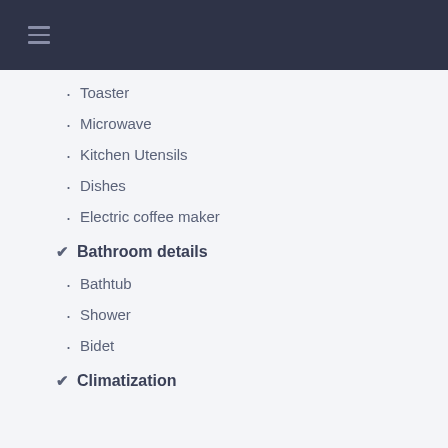Toaster
Microwave
Kitchen Utensils
Dishes
Electric coffee maker
Bathroom details
Bathtub
Shower
Bidet
Climatization